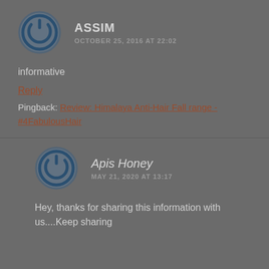[Figure (illustration): Circular avatar icon with power symbol, dark blue outline on grey background]
ASSIM
OCTOBER 25, 2016 AT 22:02
informative
Reply
Pingback: Review: Himalaya Anti-Hair Fall range - #4FabulousHair
[Figure (illustration): Circular avatar icon with power symbol, dark blue outline on grey background]
Apis Honey
MAY 21, 2020 AT 13:17
Hey, thanks for sharing this information with us....Keep sharing